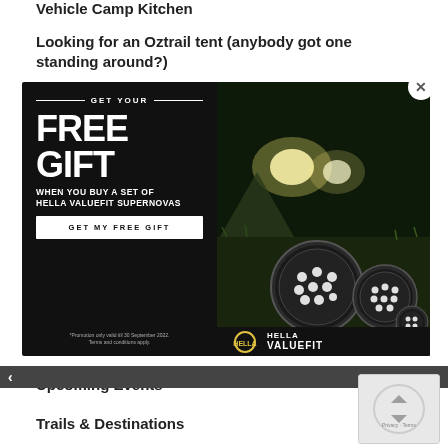Vehicle Camp Kitchen
Looking for an Oztrail tent (anybody got one standing around?)
[Figure (infographic): Popup advertisement with black left panel showing 'GET YOUR FREE GIFT WHEN YOU BUY A SET OF HELLA VALUEFIT SUPERNOVAS' text and a 'GET MY FREE GIFT' button, with right panel showing an outdoor photo of Hella Valuefit spotlight lights and the Hella Valuefit logo.]
Upcoming Events
Trails & Destinations